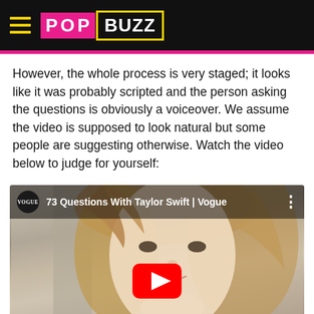PopBuzz
However, the whole process is very staged; it looks like it was probably scripted and the person asking the questions is obviously a voiceover. We assume the video is supposed to look natural but some people are suggesting otherwise. Watch the video below to judge for yourself:
[Figure (screenshot): YouTube video embed showing '73 Questions With Taylor Swift | Vogue' with VOGUE channel logo, Taylor Swift's face visible in the thumbnail, and a YouTube play button overlay.]